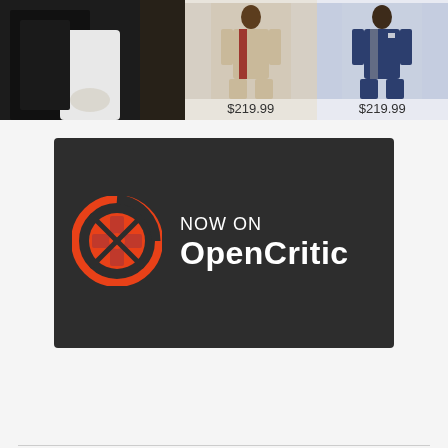[Figure (photo): Wedding couple in formal wear on the left; two male models in suits (tan suit priced $219.99, navy suit priced $219.99) on the right]
$219.99
$219.99
[Figure (logo): OpenCritic logo on dark background with text 'NOW ON OpenCritic']